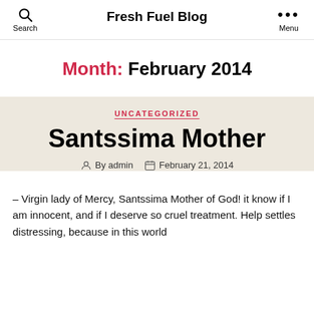Fresh Fuel Blog
Month: February 2014
UNCATEGORIZED
Santssima Mother
By admin   February 21, 2014
– Virgin lady of Mercy, Santssima Mother of God! it know if I am innocent, and if I deserve so cruel treatment. Help settles distressing, because in this world